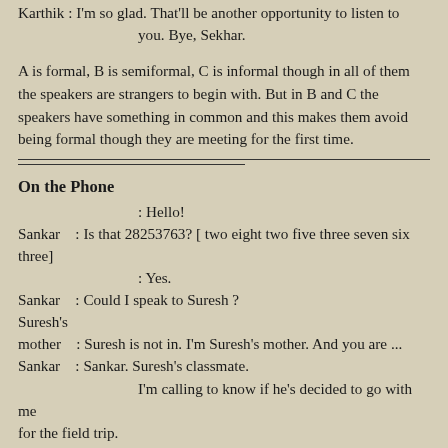Karthik : I'm so glad. That'll be another opportunity to listen to you. Bye, Sekhar.
A is formal, B is semiformal, C is informal though in all of them the speakers are strangers to begin with. But in B and C the speakers have something in common and this makes them avoid being formal though they are meeting for the first time.
On the Phone
: Hello!
Sankar : Is that 28253763? [ two eight two five three seven six three]
: Yes.
Sankar : Could I speak to Suresh ?
Suresh's mother : Suresh is not in. I'm Suresh's mother. And you are ...
Sankar : Sankar. Suresh's classmate.
I'm calling to know if he's decided to go with me for the field trip.